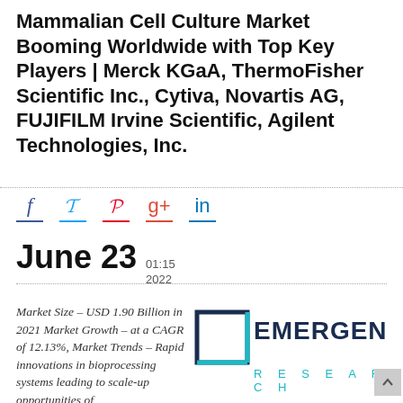Mammalian Cell Culture Market Booming Worldwide with Top Key Players | Merck KGaA, ThermoFisher Scientific Inc., Cytiva, Novartis AG, FUJIFILM Irvine Scientific, Agilent Technologies, Inc.
[Figure (infographic): Social media share icons: Facebook (f), Twitter bird, Pinterest (p), Google+ (g+), LinkedIn (in), each with colored underline bars]
June 23  01:15  2022
Market Size – USD 1.90 Billion in 2021 Market Growth – at a CAGR of 12.13%, Market Trends – Rapid innovations in bioprocessing systems leading to scale-up opportunities of
[Figure (logo): Emergen Research logo: dark navy square bracket icon with teal bottom-right corner accent, EMERGEN in bold dark navy, RESEARCH in teal spaced letters below]